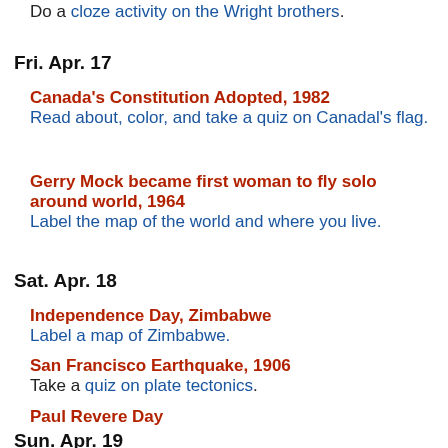Do a cloze activity on the Wright brothers.
Fri. Apr. 17
Canada's Constitution Adopted, 1982 — Read about, color, and take a quiz on Canadal's flag.
Gerry Mock became first woman to fly solo around world, 1964 — Label the map of the world and where you live.
Sat. Apr. 18
Independence Day, Zimbabwe — Label a map of Zimbabwe.
San Francisco Earthquake, 1906 — Take a quiz on plate tectonics.
Paul Revere Day — Do a cloze activity on Revere.
Sun. Apr. 19